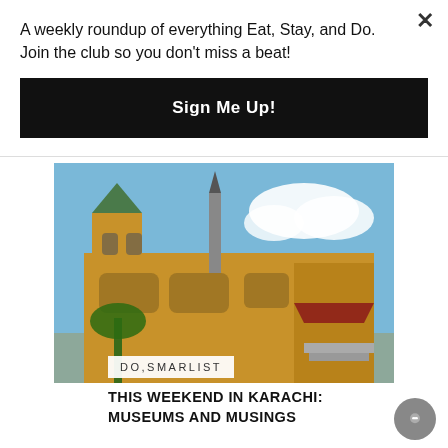A weekly roundup of everything Eat, Stay, and Do. Join the club so you don't miss a beat!
Sign Me Up!
[Figure (photo): Photograph of a large ornate sandstone building with Gothic and Moorish architectural elements, green roof, pointed towers, and arched colonnades under a partly cloudy blue sky with palm trees in the foreground.]
DO,SMARLIST
THIS WEEKEND IN KARACHI: MUSEUMS AND MUSINGS